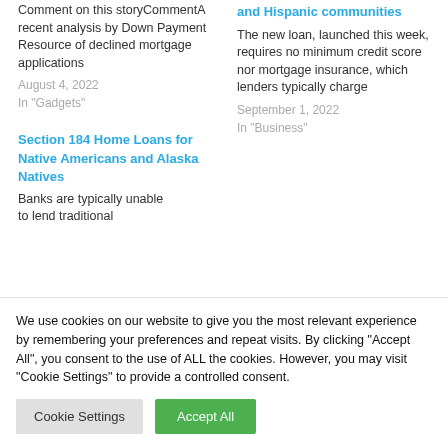Comment on this storyCommentA recent analysis by Down Payment Resource of declined mortgage applications
August 4, 2022
In "Gadgets"
and Hispanic communities
The new loan, launched this week, requires no minimum credit score nor mortgage insurance, which lenders typically charge
September 1, 2022
In "Business"
Section 184 Home Loans for Native Americans and Alaska Natives
Banks are typically unable to lend traditional
We use cookies on our website to give you the most relevant experience by remembering your preferences and repeat visits. By clicking "Accept All", you consent to the use of ALL the cookies. However, you may visit "Cookie Settings" to provide a controlled consent.